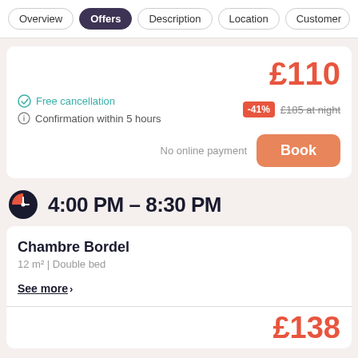Overview | Offers | Description | Location | Customer
£110
Free cancellation
Confirmation within 5 hours
-41%  £185 at night
No online payment
Book
4:00 PM – 8:30 PM
Chambre Bordel
12 m² | Double bed
See more ›
£138